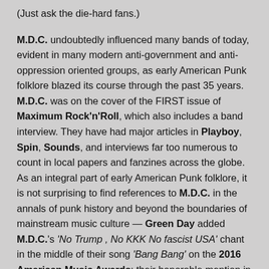(Just ask the die-hard fans.)

M.D.C. undoubtedly influenced many bands of today, evident in many modern anti-government and anti-oppression oriented groups, as early American Punk folklore blazed its course through the past 35 years. M.D.C. was on the cover of the FIRST issue of Maximum Rock'n'Roll, which also includes a band interview. They have had major articles in Playboy, Spin, Sounds, and interviews far too numerous to count in local papers and fanzines across the globe. As an integral part of early American Punk folklore, it is not surprising to find references to M.D.C. in the annals of punk history and beyond the boundaries of mainstream music culture — Green Day added M.D.C.'s 'No Trump , No KKK No fascist USA' chant in the middle of their song 'Bang Bang' on the 2016 American Music Awards; their honorable mention in the alternative duo They Might Be Giants' song "Rhythm Section Want Ad" and the "Millions...